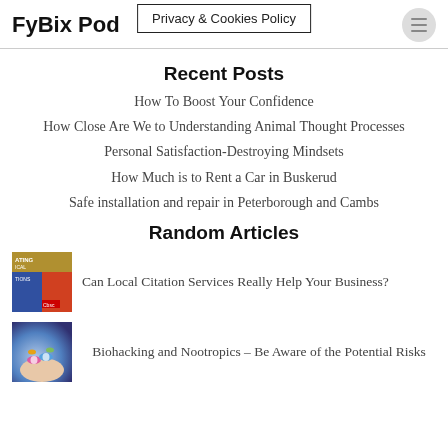FyBix Pod
Privacy & Cookies Policy
Recent Posts
How To Boost Your Confidence
How Close Are We to Understanding Animal Thought Processes
Personal Satisfaction-Destroying Mindsets
How Much is to Rent a Car in Buskerud
Safe installation and repair in Peterborough and Cambs
Random Articles
[Figure (photo): Thumbnail image for local citation services article - magazine/book style graphic]
Can Local Citation Services Really Help Your Business?
[Figure (photo): Thumbnail image for biohacking article - pills/capsules in hand]
Biohacking and Nootropics – Be Aware of the Potential Risks